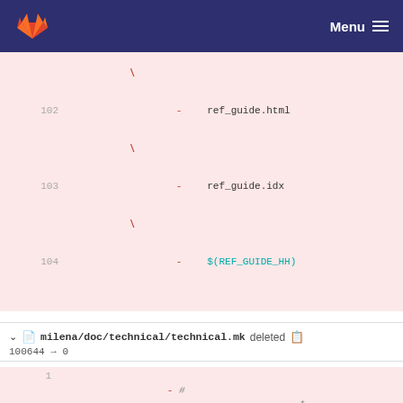Menu
[Figure (screenshot): GitLab diff view showing deleted lines 102-104 with ref_guide.html, ref_guide.idx, and $(REF_GUIDE_HH)]
milena/doc/technical/technical.mk deleted
100644 → 0
[Figure (screenshot): Diff showing deleted lines 1-3: # -*- Automake -*- comment, blank line, and # Copyright (C) 2009, 2010 EPITA Research and Development Laboratory (LRDE).]